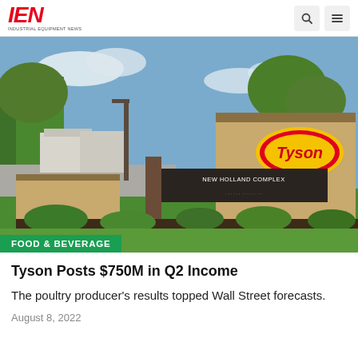IEN — INDUSTRIAL EQUIPMENT NEWS
[Figure (photo): Exterior photo of the Tyson Foods New Holland Complex facility sign, with a large tan stone monument bearing the Tyson oval logo in red, yellow, and white, and a dark sign reading NEW HOLLAND COMPLEX. Trees, green lawn, and blue sky in background.]
FOOD & BEVERAGE
Tyson Posts $750M in Q2 Income
The poultry producer's results topped Wall Street forecasts.
August 8, 2022